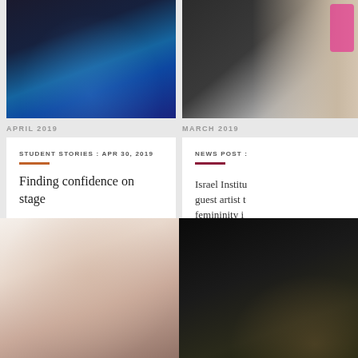[Figure (photo): Woman in blue polka dot dress with hands raised, dramatic pose against dark background]
[Figure (photo): Partial figure in striped outfit with pink fabric, against dark and light background]
APRIL 2019
MARCH 2019
STUDENT STORIES : APR 30, 2019
Finding confidence on stage
NEWS POST :
Israel Institu guest artist t femininity i
[Figure (photo): Close-up portrait of a man with short hair against light background]
[Figure (photo): Dark theatrical scene with figure wearing floral headpiece]